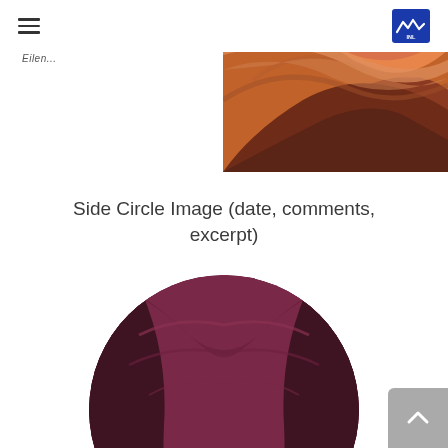hamburger menu and logo
Eilen...
[Figure (photo): Close-up photograph of swirling sandstone rock formations in shades of orange, red, and brown, resembling Antelope Canyon, with smooth wave-like curves and turquoise sky visible.]
Side Circle Image (date, comments, excerpt)
[Figure (photo): Circular cropped photograph of similar sandstone slot canyon formations in dark reddish-purple hues with a turquoise sky visible through the arch, displayed in a circle shape.]